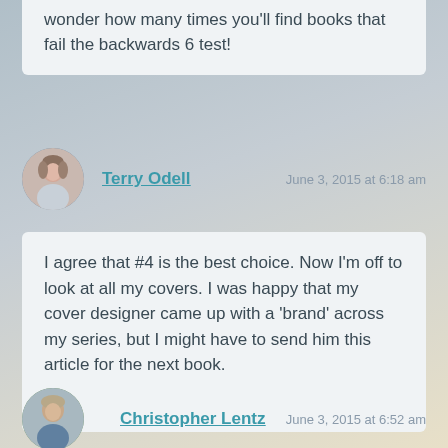wonder how many times you'll find books that fail the backwards 6 test!
Terry Odell
June 3, 2015 at 6:18 am
I agree that #4 is the best choice. Now I'm off to look at all my covers. I was happy that my cover designer came up with a 'brand' across my series, but I might have to send him this article for the next book.
Christopher Lentz
June 3, 2015 at 6:52 am